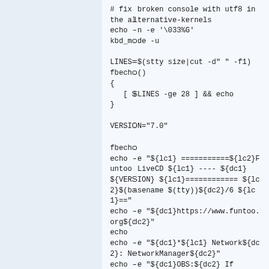# fix broken console with utf8 in the alternative-kernels
echo -n -e '\033%G'
kbd_mode -u

LINES=$(stty size|cut -d" " -f1)
fbecho()
{
   [ $LINES -ge 28 ] && echo
}

VERSION="7.0"

fbecho
echo -e "${lc1} ============${lc2}Funtoo LiveCD ${lc1} ---- ${dc1} ${VERSION} ${lc1}============ ${lc2}$(basename $(tty))${dc2}/6 ${lc1}=="
echo -e "${dc1}https://www.funtoo.org${dc2}"
echo
echo -e "${dc1}*${lc1} Network${dc2}: NetworkManager${dc2}"
echo -e "${dc1}OBS:${dc2} If